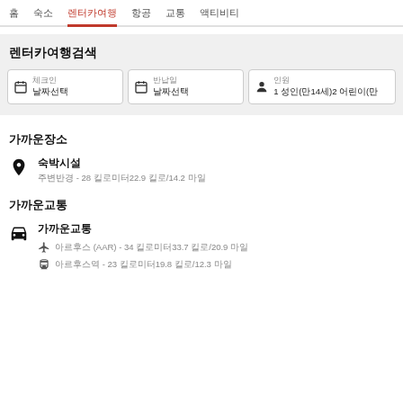홈 | 숙소 | 렌터카여행 | 항공 | 교통 | 액티비티
렌터카여행검색
체크인 날짜선택 | 반납일 날짜선택 | 인원 1 성인(만14세)2 어린이(만
가까운장소
숙박시설 – 주변반경 28 킬로미터22.9 킬로/14.2 마일
가까운교통
공항 아르후스 (AAR) - 주변반경 34 킬로미터33.7 킬로/20.9 마일
기차역 아르후스역 - 주변반경 23 킬로미터19.8 킬로/12.3 마일